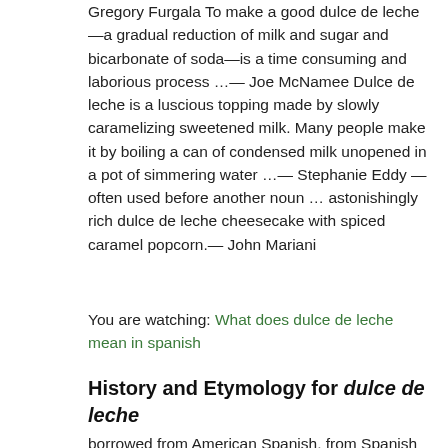Gregory Furgala To make a good dulce de leche—a gradual reduction of milk and sugar and bicarbonate of soda—is a time consuming and laborious process …— Joe McNamee Dulce de leche is a luscious topping made by slowly caramelizing sweetened milk. Many people make it by boiling a can of condensed milk unopened in a pot of simmering water …— Stephanie Eddy —often used before another noun … astonishingly rich dulce de leche cheesecake with spiced caramel popcorn.— John Mariani
You are watching: What does dulce de leche mean in spanish
History and Etymology for dulce de leche
borrowed from American Spanish, from Spanish